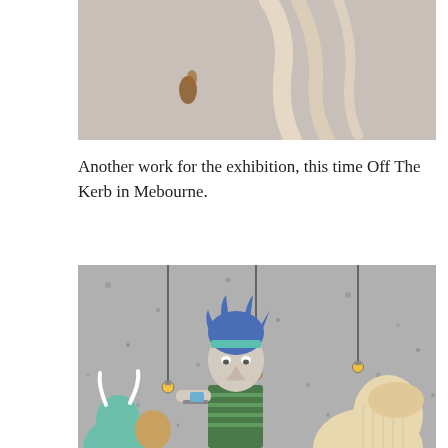[Figure (photo): Top portion of an illustration with a cream/beige background showing the lower parts of figures or objects — a small orange/brown shape and light-colored curved forms visible against the pale background.]
Another work for the exhibition, this time Off The Kerb in Mebourne.
[Figure (photo): Illustrated artwork on a concrete wall showing cartoon-style characters: a figure with blue spiked hair and a headband holding a small cup/tray, flanked by other characters including one with horns on the left and larger figure on the right, with hanging Edison-style light bulbs on cords against the concrete background.]